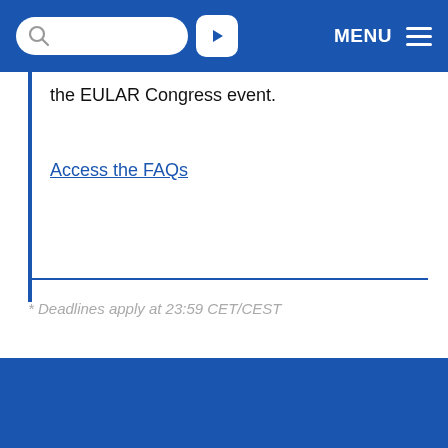MENU
the EULAR Congress event.
Access the FAQs
* Deadlines apply at 23:59 CET/CEST